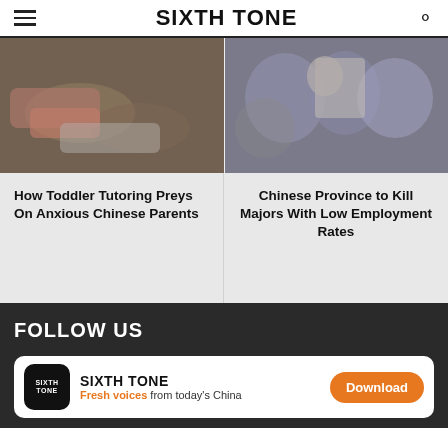SIXTH TONE
[Figure (photo): Children lying on colorful floor mats during a tutoring or activity session indoors]
[Figure (photo): Crowd of students and parents at a job or education fair, some wearing masks, holding brochures]
How Toddler Tutoring Preys On Anxious Chinese Parents
Chinese Province to Kill Majors With Low Employment Rates
FOLLOW US
SIXTH TONE
Fresh voices from today's China
Download